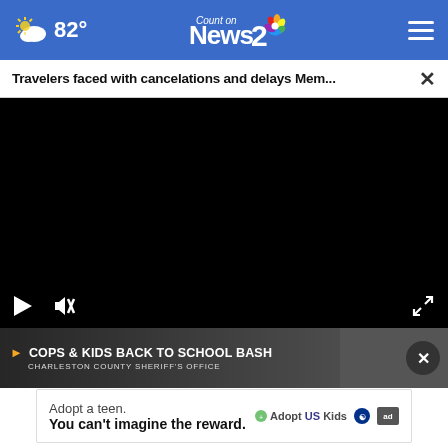82° Count on News 2
Travelers faced with cancelations and delays Mem...
[Figure (screenshot): Black video player area with play button, mute button, and fullscreen expand button]
[Figure (screenshot): Promo thumbnail showing COPS & KIDS BACK TO SCHOOL BASH - Charleston County Sheriff's Office with close button]
[Figure (screenshot): Advertisement: Adopt a teen. You can't imagine the reward. AdoptUSKids logo with ad badge]